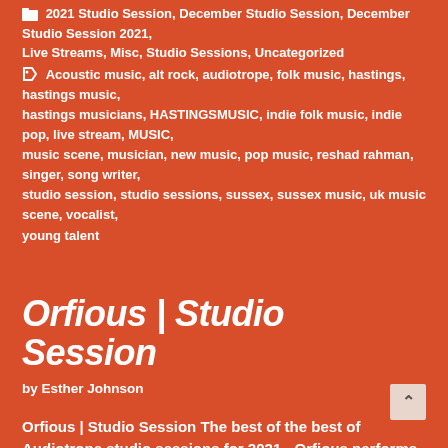2021 Studio Session, December Studio Session, December Studio Session 2021, Live Streams, Misc, Studio Sessions, Uncategorized
Acoustic music, alt rock, audiotrope, folk music, hastings, hastings music, hastings musicians, HASTINGSMUSIC, indie folk music, indie pop, live stream, MUSIC, music scene, musician, new music, pop music, reshad rahman, singer, song writer, studio session, studio sessions, sussex, sussex music, uk music scene, vocalist, young talent
Orfious | Studio Session
by Esther Johnson
Orfious | Studio Session The best of the best of Audiotrope studio sessions for 2021 - Orfious performs a live acoustic session at Savage Studios in Hastings. Follow his socials and … Read more